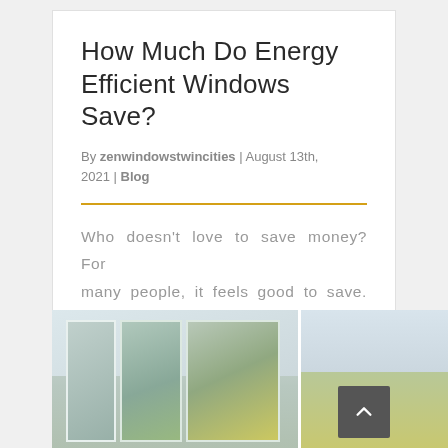How Much Do Energy Efficient Windows Save?
By zenwindowstwincities | August 13th, 2021 | Blog
Who doesn't love to save money? For many people, it feels good to save. We like [...]
[Figure (photo): Interior photo of white-framed energy efficient windows looking out to a green landscape, with a scroll-to-top button overlaid.]